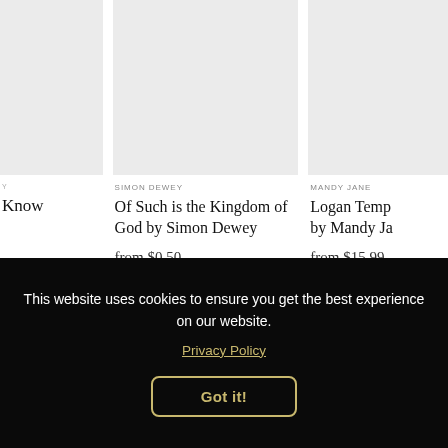[Figure (photo): Partial book/art product image on left, cropped, gray placeholder]
Y
Know
[Figure (photo): Middle book/art product image, gray placeholder]
SIMON DEWEY
Of Such is the Kingdom of God by Simon Dewey
from $0.50
[Figure (photo): Right book/art product image, partially cropped, gray placeholder]
MANDY JANE
Logan Temp... by Mandy Ja...
from $15.99
This website uses cookies to ensure you get the best experience on our website.
Privacy Policy
Got it!